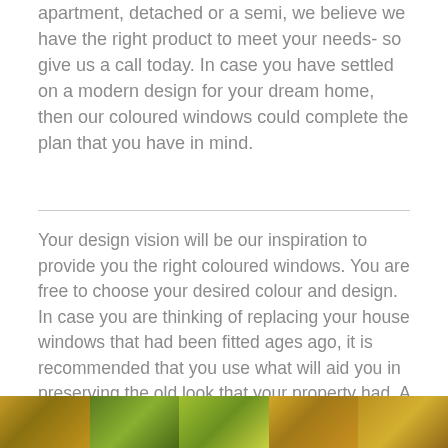apartment, detached or a semi, we believe we have the right product to meet your needs- so give us a call today. In case you have settled on a modern design for your dream home, then our coloured windows could complete the plan that you have in mind.
Your design vision will be our inspiration to provide you the right coloured windows. You are free to choose your desired colour and design. In case you are thinking of replacing your house windows that had been fitted ages ago, it is recommended that you use what will aid you in preserving the old look that your property had. A different spectrum of coloured aluminium windows that are constructed with the intention of looking like other products is being brought by Aluminium Windows Northamptonshire.
[Figure (photo): Bottom strip showing a partial view of wooden/natural materials with green foliage, appearing to be a photo of windows or home exterior features.]